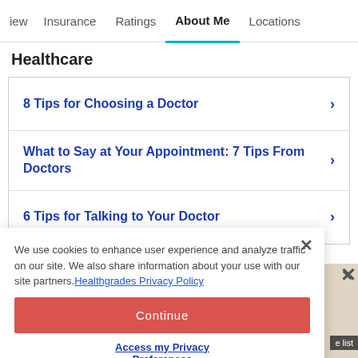iew  Insurance  Ratings  About Me  Locations
Healthcare
8 Tips for Choosing a Doctor
What to Say at Your Appointment: 7 Tips From Doctors
6 Tips for Talking to Your Doctor
We use cookies to enhance user experience and analyze traffic on our site. We also share information about your use with our site partners. Healthgrades Privacy Policy
Continue
Access my Privacy Preferences